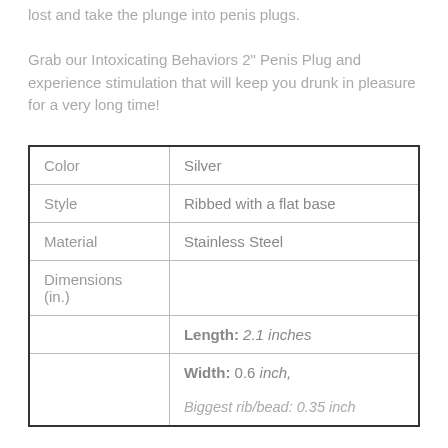lost and take the plunge into penis plugs. Grab our Intoxicating Behaviors 2" Penis Plug and experience stimulation that will keep you drunk in pleasure for a very long time!
| Color | Silver |
| Style | Ribbed with a flat base |
| Material | Stainless Steel |
| Dimensions (in.) |  |
|  | Length: 2.1 inches |
|  | Width: 0.6 inch,
Biggest rib/bead: 0.35 inch |